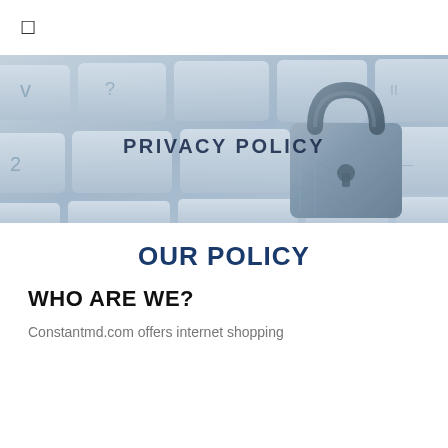☰
[Figure (photo): Close-up photo of a keyboard with a metal padlock sitting on the keys. Overlaid text reads 'PRIVACY POLICY' in the center.]
OUR POLICY
WHO ARE WE?
Constantmd.com offers internet shopping